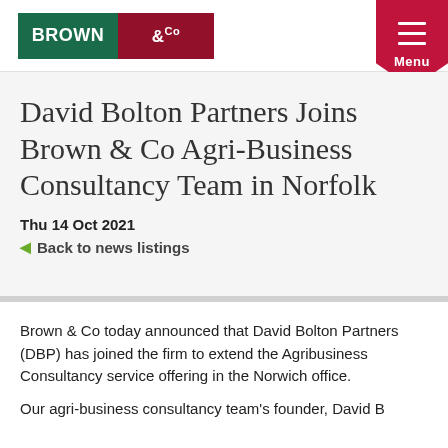[Figure (logo): Brown & Co logo — green and dark red/maroon rectangular logo with white text]
[Figure (other): Pink/crimson menu button with hamburger lines and 'Menu' label, shaped with downward-pointing chevron]
David Bolton Partners Joins Brown & Co Agri-Business Consultancy Team in Norfolk
Thu 14 Oct 2021
Back to news listings
Brown & Co today announced that David Bolton Partners (DBP) has joined the firm to extend the Agribusiness Consultancy service offering in the Norwich office.
Continuation — sentence beginning: 'Our agri-business consultancy team's founder, David...'